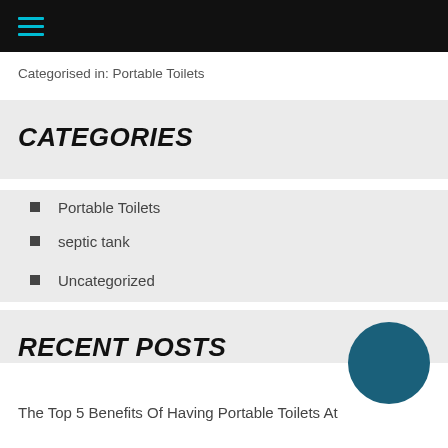≡ (navigation bar with hamburger menu)
Categorised in: Portable Toilets
CATEGORIES
Portable Toilets
septic tank
Uncategorized
RECENT POSTS
The Top 5 Benefits Of Having Portable Toilets At